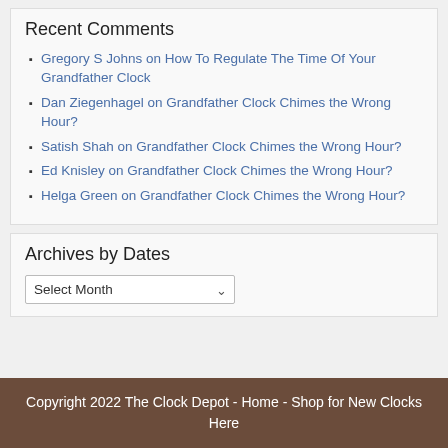Recent Comments
Gregory S Johns on How To Regulate The Time Of Your Grandfather Clock
Dan Ziegenhagel on Grandfather Clock Chimes the Wrong Hour?
Satish Shah on Grandfather Clock Chimes the Wrong Hour?
Ed Knisley on Grandfather Clock Chimes the Wrong Hour?
Helga Green on Grandfather Clock Chimes the Wrong Hour?
Archives by Dates
Select Month (dropdown)
Copyright 2022 The Clock Depot - Home - Shop for New Clocks Here